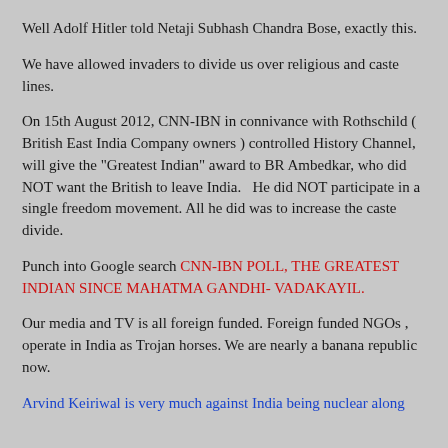Well Adolf Hitler told Netaji Subhash Chandra Bose, exactly this.
We have allowed invaders to divide us over religious and caste lines.
On 15th August 2012, CNN-IBN in connivance with Rothschild ( British East India Company owners ) controlled History Channel, will give the "Greatest Indian" award to BR Ambedkar, who did NOT want the British to leave India.   He did NOT participate in a single freedom movement. All he did was to increase the caste divide.
Punch into Google search CNN-IBN POLL, THE GREATEST INDIAN SINCE MAHATMA GANDHI- VADAKAYIL.
Our media and TV is all foreign funded. Foreign funded NGOs , operate in India as Trojan horses. We are nearly a banana republic now.
Arvind Keiriwal is very much against India being nuclear along